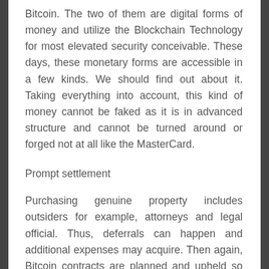Bitcoin. The two of them are digital forms of money and utilize the Blockchain Technology for most elevated security conceivable. These days, these monetary forms are accessible in a few kinds. We should find out about it. Taking everything into account, this kind of money cannot be faked as it is in advanced structure and cannot be turned around or forged not at all like the MasterCard.
Prompt settlement
Purchasing genuine property includes outsiders for example, attorneys and legal official. Thus, deferrals can happen and additional expenses may acquire. Then again, Bitcoin contracts are planned and upheld so as to incorporate or avoid outsiders. The exchanges are snappy and settlements can be made in a split second.